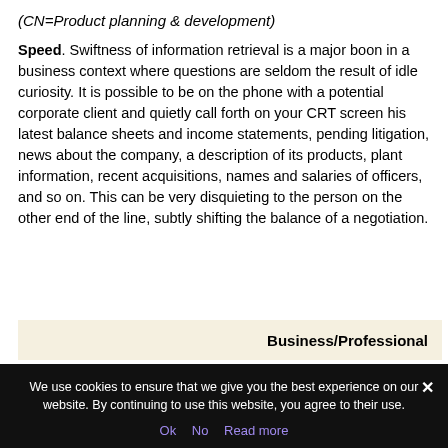(CN=Product planning & development)
Speed. Swiftness of information retrieval is a major boon in a business context where questions are seldom the result of idle curiosity. It is possible to be on the phone with a potential corporate client and quietly call forth on your CRT screen his latest balance sheets and income statements, pending litigation, news about the company, a description of its products, plant information, recent acquisitions, names and salaries of officers, and so on. This can be very disquieting to the person on the other end of the line, subtly shifting the balance of a negotiation.
Business/Professional
We use cookies to ensure that we give you the best experience on our website. By continuing to use this website, you agree to their use.
Ok  No  Read more